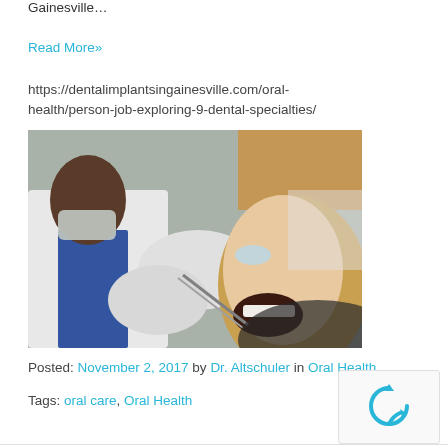Gainesville...
Read More»
https://dentalimplantsingainesville.com/oral-health/person-job-exploring-9-dental-specialties/
[Figure (photo): A dentist in white coat and gloves examining a female patient's open mouth with dental instruments. The patient is reclined in a dental chair. An orange towel is visible in the background.]
Posted: November 2, 2017 by Dr. Altschuler in Oral Health
Tags: oral care, Oral Health
[Figure (other): reCAPTCHA widget icon]